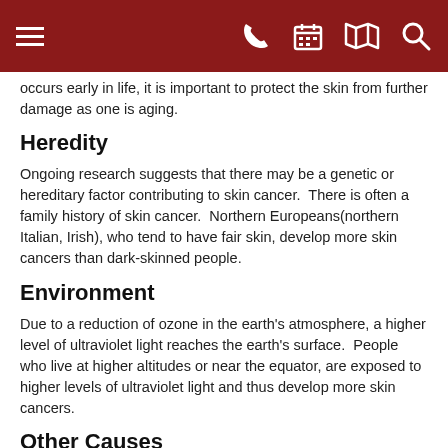[Navigation bar with hamburger menu, phone, calendar, map, and search icons]
occurs early in life, it is important to protect the skin from further damage as one is aging.
Heredity
Ongoing research suggests that there may be a genetic or hereditary factor contributing to skin cancer.  There is often a family history of skin cancer.  Northern Europeans(northern Italian, Irish), who tend to have fair skin, develop more skin cancers than dark-skinned people.
Environment
Due to a reduction of ozone in the earth's atmosphere, a higher level of ultraviolet light reaches the earth's surface.  People who live at higher altitudes or near the equator, are exposed to higher levels of ultraviolet light and thus develop more skin cancers.
Other Causes
Superficial X-rays (Grenz rays) which were used many years ago for the treatment of certain skin disorders, including acne, can